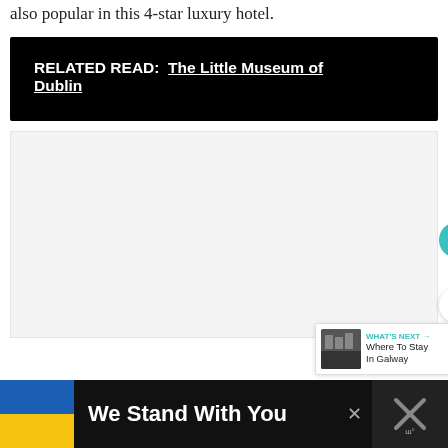also popular in this 4-star luxury hotel.
RELATED READ:  The Little Museum of Dublin
[Figure (photo): A large light-grey placeholder image area representing an embedded photo or map, with social sharing UI elements (heart/like button with count '2', share button) and a 'WHAT'S NEXT → Where To Stay In Galway' card overlay.]
[Figure (infographic): Advertisement banner at the bottom: Ukrainian flag on the left, bold white text 'We Stand With You', close button (×), and a right-side logo/icon area on black background.]